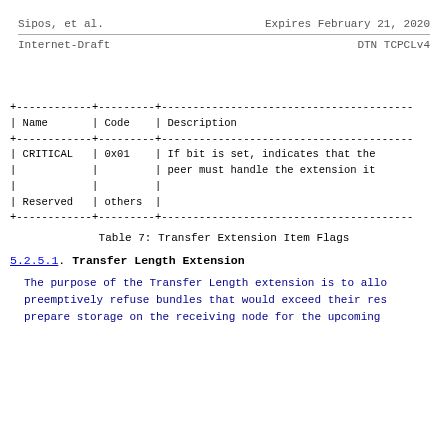Sipos, et al.                    Expires February 21, 2020
Internet-Draft                        DTN TCPCLv4
| Name | Code | Description |
| --- | --- | --- |
| CRITICAL | 0x01 | If bit is set, indicates that the peer must handle the extension it |
|  |  |  |
| Reserved | others |  |
Table 7: Transfer Extension Item Flags
5.2.5.1.  Transfer Length Extension
The purpose of the Transfer Length extension is to allo preemptively refuse bundles that would exceed their res prepare storage on the receiving node for the upcoming